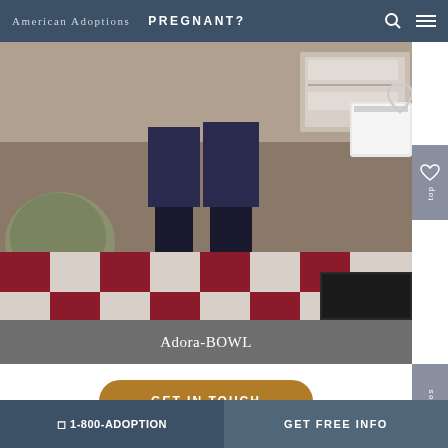American Adoptions   PREGNANT?
[Figure (photo): Two people standing in a bowling alley with a black and white checkered floor, grey chairs visible on the left, and bowling equipment in the background. Photo caption overlay reads 'Adora-BOWL'.]
Adora-BOWL
GET IN TOUCH
Our House and Neighborhood
☐ 1-800-ADOPTION   GET FREE INFO